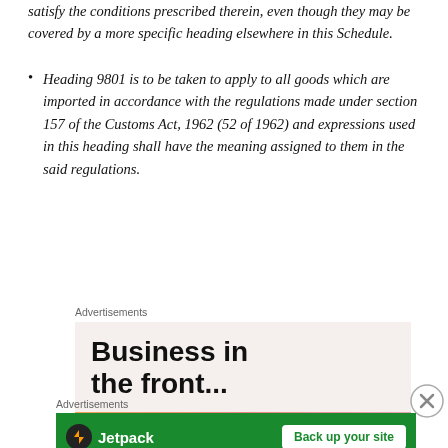satisfy the conditions prescribed therein, even though they may be covered by a more specific heading elsewhere in this Schedule.
Heading 9801 is to be taken to apply to all goods which are imported in accordance with the regulations made under section 157 of the Customs Act, 1962 (52 of 1962) and expressions used in this heading shall have the meaning assigned to them in the said regulations.
[Figure (other): Advertisement banner: 'Business in the front...' with orange-pink gradient bar at bottom]
[Figure (other): Jetpack advertisement banner with green background, Jetpack logo and 'Back up your site' button]